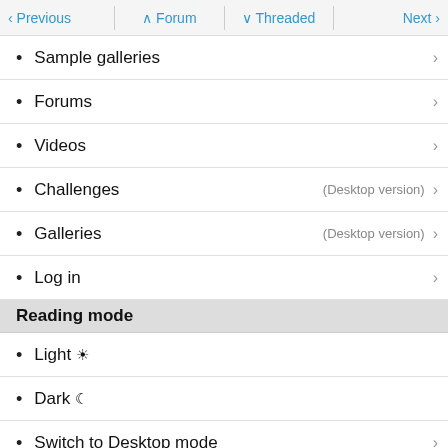< Previous   ^ Forum   v Threaded   Next >
Sample galleries
Forums
Videos
Challenges (Desktop version)
Galleries (Desktop version)
Log in
Reading mode
Light ☀
Dark ☾
Switch to Desktop mode
[Figure (logo): DPReview - Digital Photography Review logo on dark background]